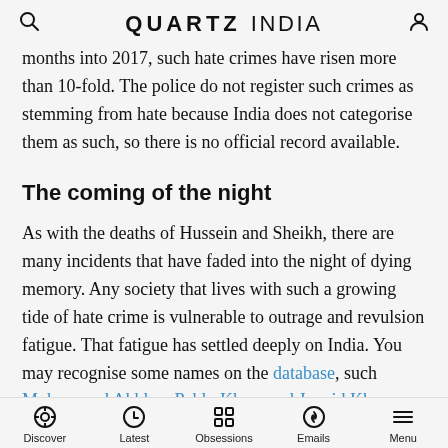QUARTZ INDIA
months into 2017, such hate crimes have risen more than 10-fold. The police do not register such crimes as stemming from hate because India does not categorise them as such, so there is no official record available.
The coming of the night
As with the deaths of Hussein and Sheikh, there are many incidents that have faded into the night of dying memory. Any society that lives with such a growing tide of hate crime is vulnerable to outrage and revulsion fatigue. That fatigue has settled deeply on India. You may recognise some names on the database, such
Discover  Latest  Obsessions  Emails  Menu